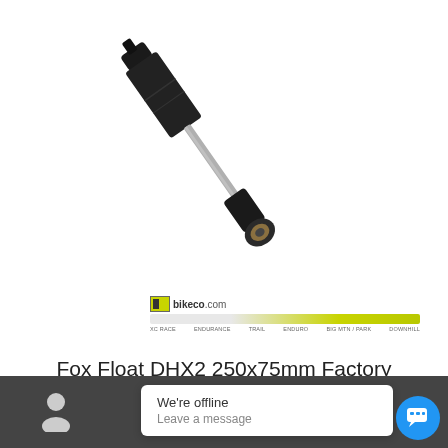[Figure (photo): Fox Float DHX2 250x75mm Factory rear shock absorber, shown diagonally on white background. Black and silver shock with gold/bronze eye at bottom.]
[Figure (infographic): BikeCo.com terrain rating bar showing gradient from XC Race to Downhill. Bar is highlighted toward Downhill end (yellow-green). Labels: XC RACE, ENDURANCE, TRAIL, ENDURO, BIG MTN / PARK, DOWNHILL.]
Fox Float DHX2 250x75mm Factory
Currently Out of Stock - Use Product Inquiry Form for Availability!
Select options
We're offline
Leave a message